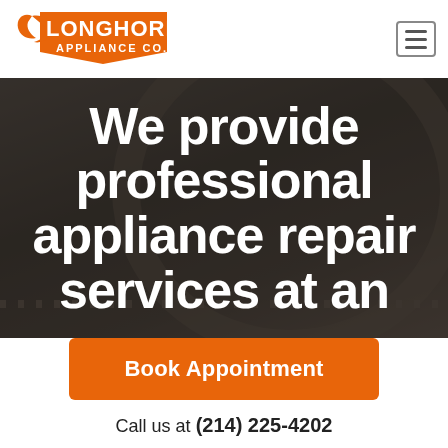[Figure (logo): Longhorn Appliance Co. logo with orange longhorn icon and orange text on white background]
[Figure (photo): Dark background photo of appliance interior (oven), with white bold text overlay reading: We provide professional appliance repair services at an]
Book Appointment
Call us at (214) 225-4202